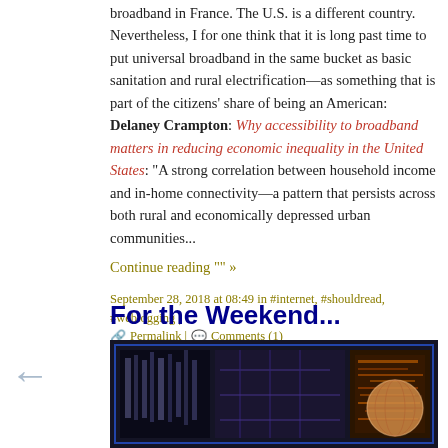broadband in France. The U.S. is a different country. Nevertheless, I for one think that it is long past time to put universal broadband in the same bucket as basic sanitation and rural electrification—as something that is part of the citizens' share of being an American: Delaney Crampton: Why accessibility to broadband matters in reducing economic inequality in the United States: "A strong correlation between household income and in-home connectivity—a pattern that persists across both rural and economically depressed urban communities...
Continue reading "" »
September 28, 2018 at 08:49 in #internet, #shouldread, #weblogging | Permalink | Comments (1)
For the Weekend...
[Figure (photo): A dark technology-themed image showing circuit board patterns and a spherical object on the right side, with blue and orange tones]